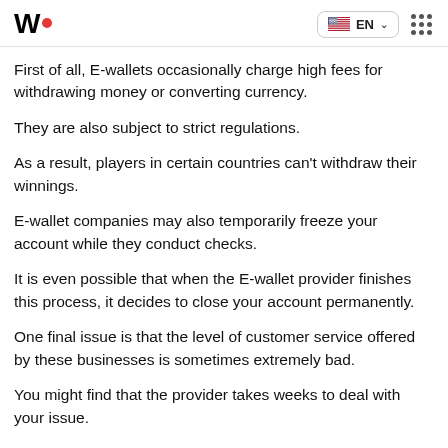W. EN
First of all, E-wallets occasionally charge high fees for withdrawing money or converting currency.
They are also subject to strict regulations.
As a result, players in certain countries can't withdraw their winnings.
E-wallet companies may also temporarily freeze your account while they conduct checks.
It is even possible that when the E-wallet provider finishes this process, it decides to close your account permanently.
One final issue is that the level of customer service offered by these businesses is sometimes extremely bad.
You might find that the provider takes weeks to deal with your issue.